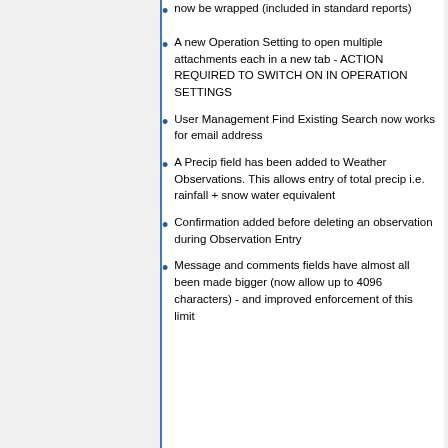now be wrapped (included in standard reports)
A new Operation Setting to open multiple attachments each in a new tab - ACTION REQUIRED TO SWITCH ON IN OPERATION SETTINGS
User Management Find Existing Search now works for email address
A Precip field has been added to Weather Observations. This allows entry of total precip i.e. rainfall + snow water equivalent
Confirmation added before deleting an observation during Observation Entry
Message and comments fields have almost all been made bigger (now allow up to 4096 characters) - and improved enforcement of this limit